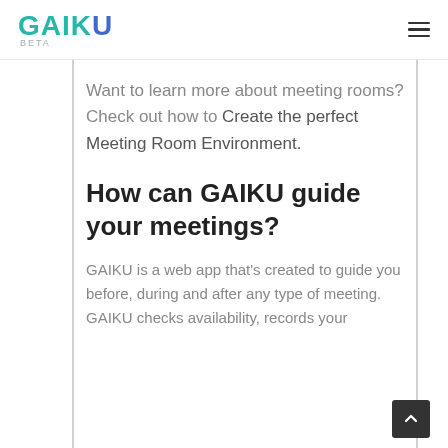GAIKU BETA
Want to learn more about meeting rooms? Check out how to Create the perfect Meeting Room Environment.
How can GAIKU guide your meetings?
GAIKU is a web app that's created to guide you before, during and after any type of meeting. GAIKU checks availability, records your